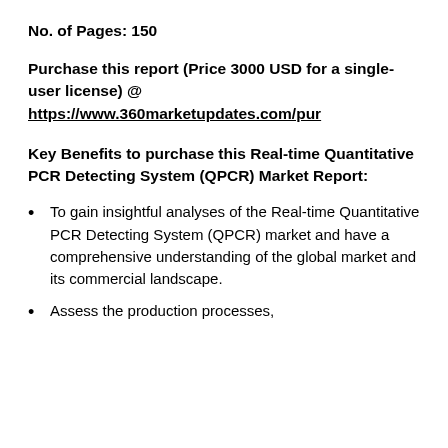No. of Pages: 150
Purchase this report (Price 3000 USD for a single-user license) @ https://www.360marketupdates.com/pur
Key Benefits to purchase this Real-time Quantitative PCR Detecting System (QPCR) Market Report:
To gain insightful analyses of the Real-time Quantitative PCR Detecting System (QPCR) market and have a comprehensive understanding of the global market and its commercial landscape.
Assess the production processes,